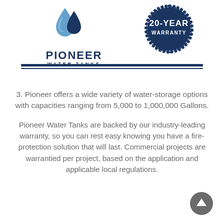[Figure (logo): Pioneer Water Tanks logo with blue water drop icon and text PIONEER WATER TANKS]
[Figure (illustration): Dark navy circular badge/seal with text 20-YEAR WARRANTY]
3. Pioneer offers a wide variety of water-storage options with capacities ranging from 5,000 to 1,000,000 Gallons.
Pioneer Water Tanks are backed by our industry-leading warranty, so you can rest easy knowing you have a fire-protection solution that will last. Commercial projects are warrantied per project, based on the application and applicable local regulations.
[Figure (illustration): Gray circular scroll-to-top button with upward arrow]